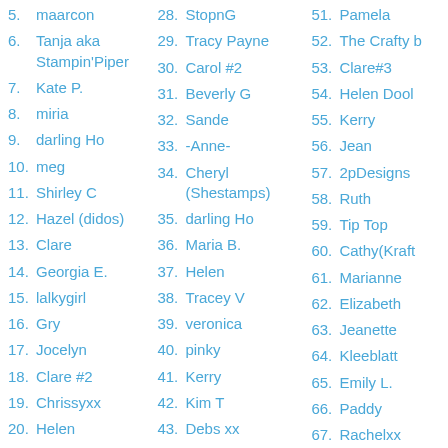5. maarcon
6. Tanja aka Stampin'Piper
7. Kate P.
8. miria
9. darling Ho
10. meg
11. Shirley C
12. Hazel (didos)
13. Clare
14. Georgia E.
15. lalkygirl
16. Gry
17. Jocelyn
18. Clare #2
19. Chrissyxx
20. Helen
21. Marianne's Crafts
28. StopnG
29. Tracy Payne
30. Carol #2
31. Beverly G
32. Sande
33. -Anne-
34. Cheryl (Shestamps)
35. darling Ho
36. Maria B.
37. Helen
38. Tracey V
39. veronica
40. pinky
41. Kerry
42. Kim T
43. Debs xx
44. Sue U
51. Pamela
52. The Crafty b
53. Clare#3
54. Helen Dool
55. Kerry
56. Jean
57. 2pDesigns
58. Ruth
59. Tip Top
60. Cathy(Kraft
61. Marianne
62. Elizabeth
63. Jeanette
64. Kleeblatt
65. Emily L.
66. Paddy
67. Rachelxx